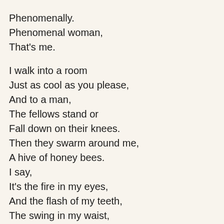Phenomenally.
Phenomenal woman,
That's me.

I walk into a room
Just as cool as you please,
And to a man,
The fellows stand or
Fall down on their knees.
Then they swarm around me,
A hive of honey bees.
I say,
It's the fire in my eyes,
And the flash of my teeth,
The swing in my waist,
And the joy in my feet.
I'm a woman
Phenomenally.
Phenomenal woman,